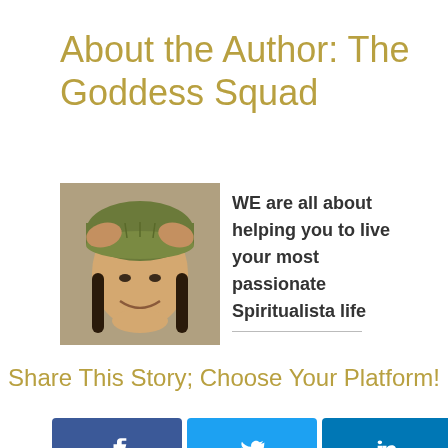About the Author: The Goddess Squad
[Figure (photo): Portrait photo of a woman wearing a green knit hat, smiling, holding her hat with both hands]
WE are all about helping you to live your most passionate Spiritualista life
Share This Story; Choose Your Platform!
[Figure (infographic): Social sharing buttons: Facebook, Twitter, LinkedIn, Pinterest]